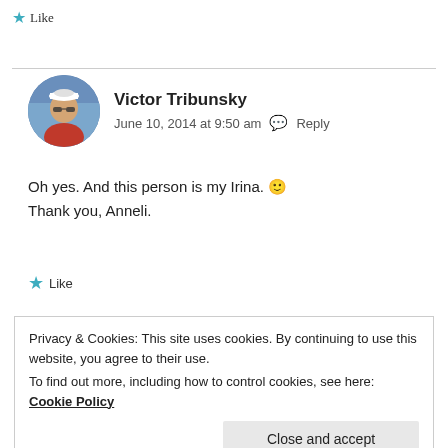★ Like
Victor Tribunsky
June 10, 2014 at 9:50 am  💬  Reply
Oh yes. And this person is my Irina. 🙂
Thank you, Anneli.
★ Like
Privacy & Cookies: This site uses cookies. By continuing to use this website, you agree to their use.
To find out more, including how to control cookies, see here: Cookie Policy
Close and accept